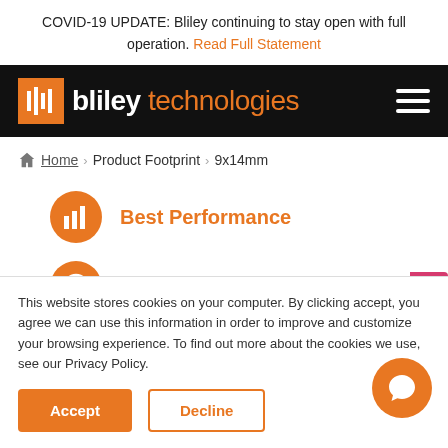COVID-19 UPDATE: Bliley continuing to stay open with full operation. Read Full Statement
[Figure (logo): Bliley Technologies logo on black navigation bar with hamburger menu icon]
Home > Product Footprint > 9x14mm
Best Performance
Best Value
This website stores cookies on your computer. By clicking accept, you agree we can use this information in order to improve and customize your browsing experience. To find out more about the cookies we use, see our Privacy Policy.
Accept
Decline